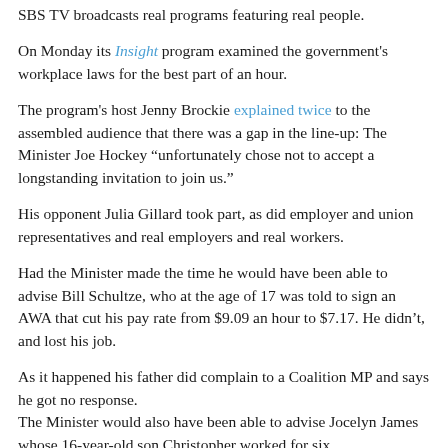SBS TV broadcasts real programs featuring real people.
On Monday its Insight program examined the government's workplace laws for the best part of an hour.
The program's host Jenny Brockie explained twice to the assembled audience that there was a gap in the line-up: The Minister Joe Hockey “unfortunately chose not to accept a longstanding invitation to join us.”
His opponent Julia Gillard took part, as did employer and union representatives and real employers and real workers.
Had the Minister made the time he would have been able to advise Bill Schultze, who at the age of 17 was told to sign an AWA that cut his pay rate from $9.09 an hour to $7.17. He didn’t, and lost his job.
As it happened his father did complain to a Coalition MP and says he got no response.
The Minister would also have been able to advise Jocelyn James whose 16-year-old son Christopher worked for six